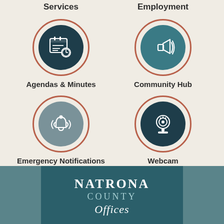[Figure (infographic): Government website navigation icons grid: Services (top-left, cut off), Employment (top-right, cut off), Agendas & Minutes (calendar with clock icon in dark teal circle), Community Hub (megaphone icon in teal circle), Emergency Notifications (bell icon in gray circle), Webcam (webcam icon in dark teal circle), with Natrona County logo at bottom]
Natrona County